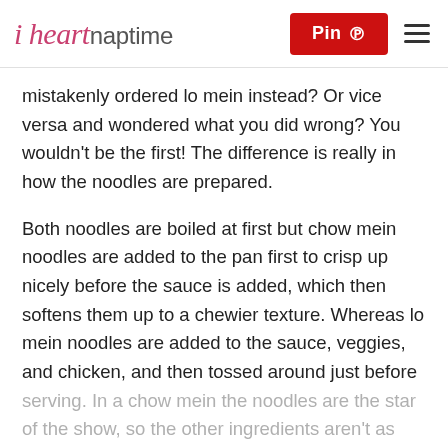i heart naptime | Pin | ≡
mistakenly ordered lo mein instead? Or vice versa and wondered what you did wrong? You wouldn't be the first! The difference is really in how the noodles are prepared.
Both noodles are boiled at first but chow mein noodles are added to the pan first to crisp up nicely before the sauce is added, which then softens them up to a chewier texture. Whereas lo mein noodles are added to the sauce, veggies, and chicken, and then tossed around just before serving. In a chow mein the noodles are the star of the show, so the other ingredients aren't as